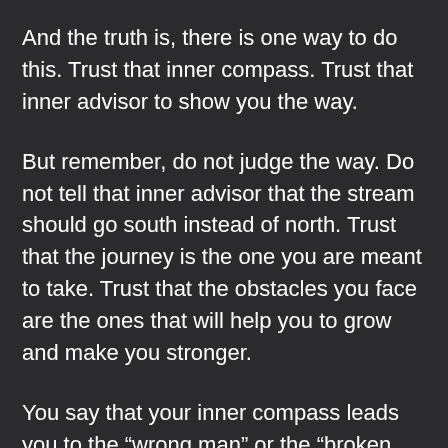And the truth is, there is one way to do this. Trust that inner compass. Trust that inner advisor to show you the way.
But remember, do not judge the way. Do not tell that inner advisor that the stream should go south instead of north. Trust that the journey is the one you are meant to take. Trust that the obstacles you face are the ones that will help you to grow and make you stronger.
You say that your inner compass leads you to the “wrong man” or the “broken pipes”. Well, yes, what did you expect? Did you expect that inner advisor to lead you to the perfect life in the perfect castle with the